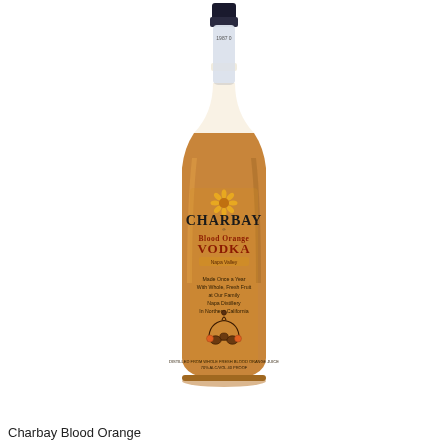[Figure (photo): A bottle of Charbay Blood Orange vodka. The bottle is tall and slender with a frosted glass neck and dark cap. The body of the bottle is filled with an amber/golden-orange liquid. The label features the Charbay brand name in dark serif text, a sunflower logo, text reading 'Blood Orange Vodka', descriptive text about being made once a year with whole fresh fruit at their family Napa Distillery in Northern California, and a small illustration of barrels and fruit at the bottom of the label.]
Charbay Blood Orange